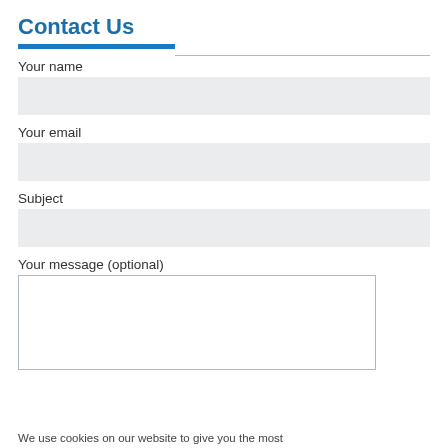Contact Us
Your name
Your email
Subject
Your message (optional)
We use cookies on our website to give you the most